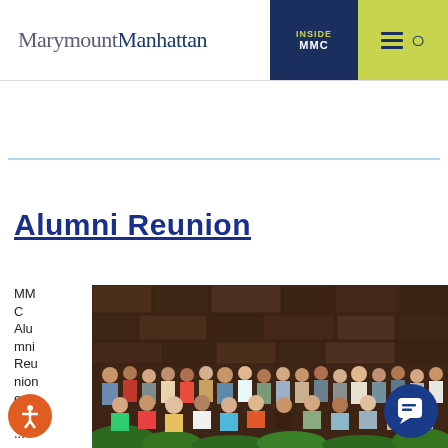MarymountManhattan
Alumni Reunion
MMC Alumni Reunion ed...
[Figure (photo): Group photo of MMC alumni women gathered for a reunion, standing and sitting in rows in front of a stone wall background]